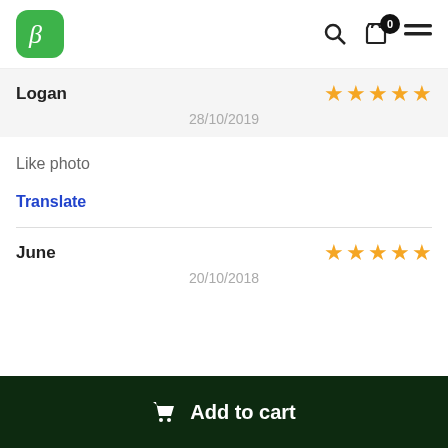Beta logo, search icon, cart icon with badge 0, menu icon
Logan — 5 stars — 28/10/2019
Like photo
Translate
June — 5 stars — 20/10/2018
Add to cart